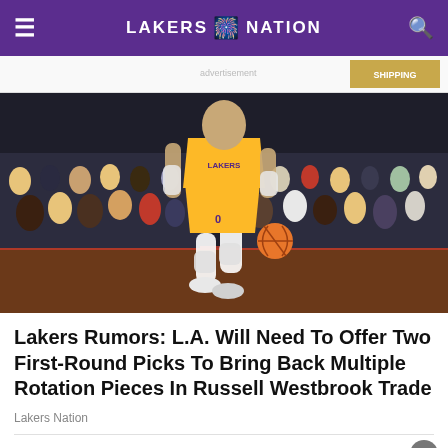LAKERS NATION
[Figure (photo): Basketball player wearing Los Angeles Lakers #0 jersey (Russell Westbrook) dribbling the ball at a game with crowd in background]
Lakers Rumors: L.A. Will Need To Offer Two First-Round Picks To Bring Back Multiple Rotation Pieces In Russell Westbrook Trade
Lakers Nation
[Figure (photo): Bottom advertisement banner: 'The perfect gift' with food product images and '35% OFF + FREE SHIPPING' badge]